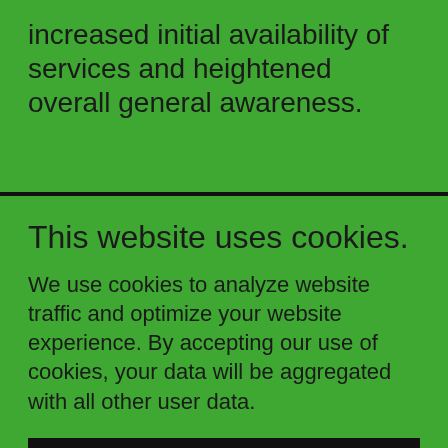increased initial availability of services and heightened overall general awareness.
This website uses cookies.
We use cookies to analyze website traffic and optimize your website experience. By accepting our use of cookies, your data will be aggregated with all other user data.
ACCEPT